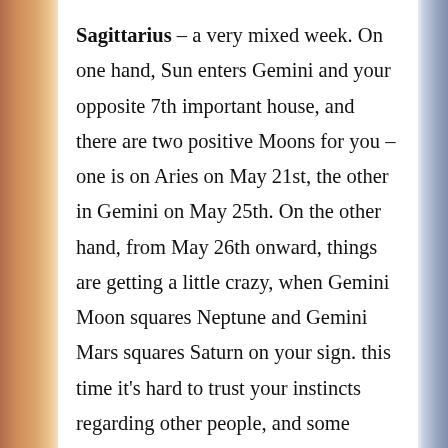Sagittarius – a very mixed week. On one hand, Sun enters Gemini and your opposite 7th important house, and there are two positive Moons for you – one is on Aries on May 21st, the other in Gemini on May 25th. On the other hand, from May 26th onward, things are getting a little crazy, when Gemini Moon squares Neptune and Gemini Mars squares Saturn on your sign. this time it's hard to trust your instincts regarding other people, and some mommentum you have been gaining may suddenly encounter a setback. A positive way of looking at this aspect is that it might be the begining of the end of last year's hardships: some energy is entering your life in full strength, and even if it seems to be negative at first, you will learn how to work with it to fix a bigger something...